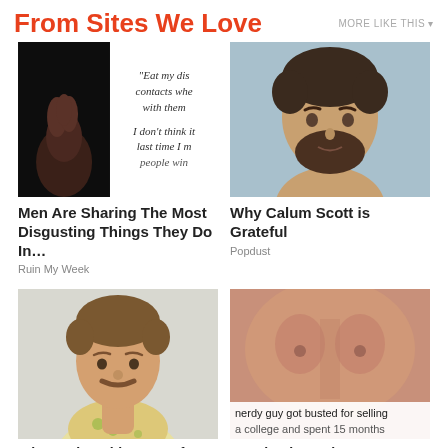From Sites We Love
MORE LIKE THIS
[Figure (screenshot): Screenshot of text post with dark left panel showing a hand, and white right panel with text: "Eat my dis contacts whe with them" and "I don't think it last time I m people win"]
[Figure (photo): Portrait photo of Calum Scott, a bearded man looking at camera against light blue/grey background]
Men Are Sharing The Most Disgusting Things They Do In…
Ruin My Week
Why Calum Scott is Grateful
Popdust
[Figure (photo): Photo of a young man with a mustache wearing a floral Hawaiian shirt, outdoors, light background]
[Figure (screenshot): Photo of a shirtless male torso with text overlay: "nerdy guy got busted for selling" and "a college and spent 15 months"]
Who Is The White Boy Of
People Share The Most